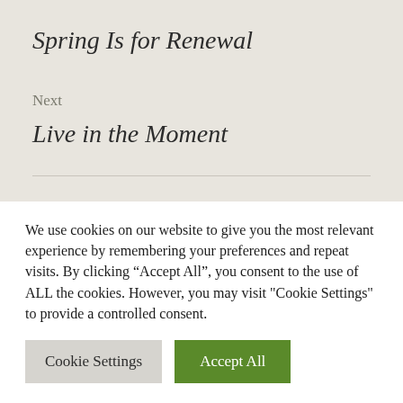Spring Is for Renewal
Next
Live in the Moment
Follow Me
We use cookies on our website to give you the most relevant experience by remembering your preferences and repeat visits. By clicking “Accept All”, you consent to the use of ALL the cookies. However, you may visit "Cookie Settings" to provide a controlled consent.
Cookie Settings | Accept All